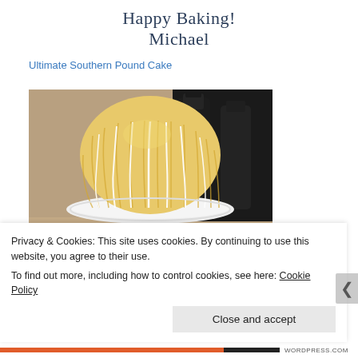Happy Baking!
Michael
Ultimate Southern Pound Cake
[Figure (photo): A golden bundt pound cake with white glaze drizzled down its sides, sitting on a white pedestal cake stand, with dark bottles visible in the background on a granite countertop.]
Privacy & Cookies: This site uses cookies. By continuing to use this website, you agree to their use.
To find out more, including how to control cookies, see here: Cookie Policy
Close and accept